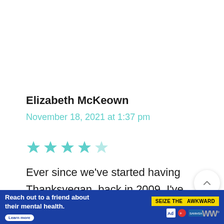Elizabeth McKeown
November 18, 2021 at 1:37 pm
[Figure (other): 5-star rating shown as 5 teal/light-colored stars]
Ever since we've started having Thanksvegan, back in 2009, I've made this recipe. And I can attest, it IS the best GB casserole ever. And alllll the non-vegan family members agree! I always double the re...
[Figure (other): Floating UI buttons: up chevron button, heart/like button with count 732, teal search button]
[Figure (other): Ad banner: blue background with text 'Reach out to a friend about their mental health. Learn more' and yellow 'SEIZE THE AWKWARD' badge with health organization logos, and WW logo on right]